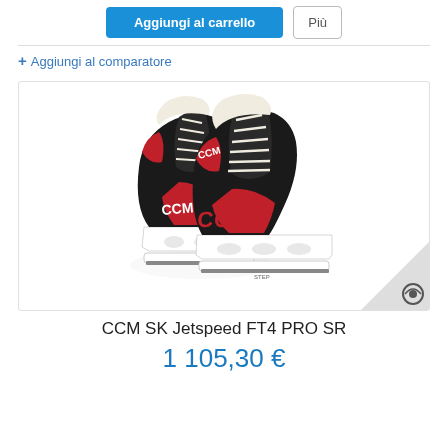Aggiungi al carrello | Più
+ Aggiungi al comparatore
[Figure (photo): CCM SK Jetspeed FT4 PRO SR ice hockey skates — pair of black and red skates with white blades and CCM branding, shown from a side-front angle on a white background.]
CCM SK Jetspeed FT4 PRO SR
1 105,30 €